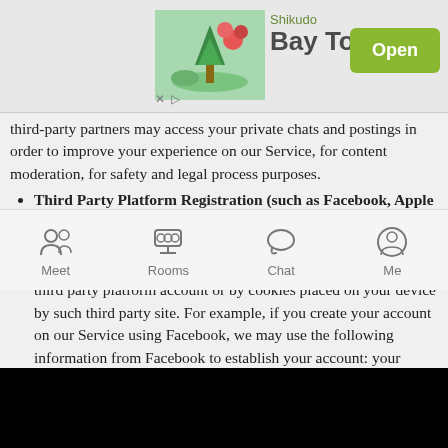[Figure (screenshot): Mobile app advertisement banner for 'Bay Town' game by Shikudo, showing an island game image, app name, and an 'Open' button]
third-party partners may access your private chats and postings in order to improve your experience on our Service, for content moderation, for safety and legal process purposes.
Third Party Platform Registration (such as Facebook, Apple App Store or Google Play Store). When you download or register for our Service by or through a third party platform we may also access and/or collect certain information from your third party platform account or by cookies placed on your device by such third party site. For example, if you create your account on our Service using Facebook, we may use the following information from Facebook to establish your account: your email address, hometown, gender, profile photo, date of birth, friends list and userID. In addition, in the course of providing our Service on third party platforms, such as the Apple App Store or the Google Play Store, the platforms may collect information about you or receive information from us in order for that platform to provide and analyze their services. Please note that these
[Figure (screenshot): Mobile app bottom navigation bar with Meet, Rooms, Chat, Me icons]